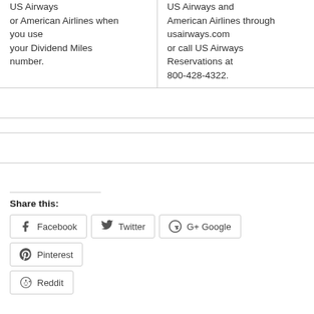US Airways or American Airlines when you use your Dividend Miles number.
US Airways and American Airlines through usairways.com or call US Airways Reservations at 800-428-4322.
Share this:
Facebook  Twitter  Google  Pinterest  Reddit